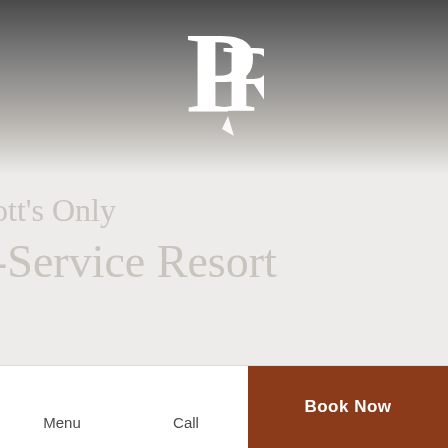[Figure (logo): Prescott Resort PR logo — stylized P and R letters in white serif font on gradient dark-to-light background]
ott's Only
-Service Resort
Discover picturesque sunset views and outstanding amenities at the only full-service resort in the Prescott, Arizona area. Locally owned and rich in heritage, Prescott Resort sits on a scenic mountain top and
Menu   Call   Book Now